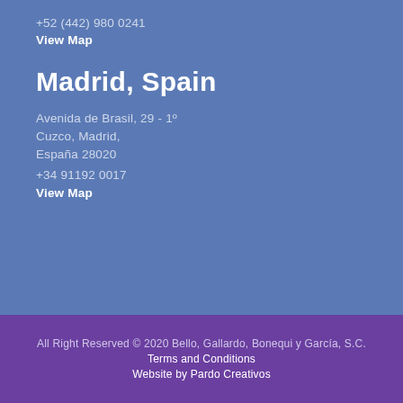+52 (442) 980 0241
View Map
Madrid, Spain
Avenida de Brasil, 29 - 1º
Cuzco, Madrid,
España 28020
+34 91192 0017
View Map
All Right Reserved © 2020 Bello, Gallardo, Bonequi y García, S.C.
Terms and Conditions
Website by Pardo Creativos